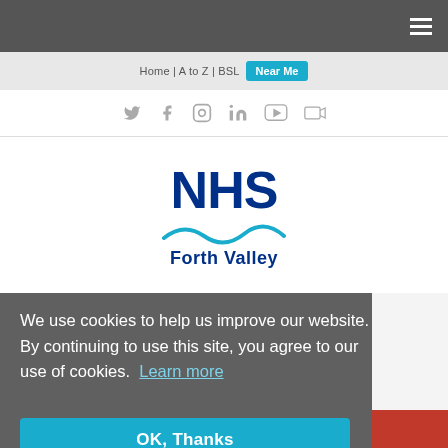[Figure (screenshot): NHS Forth Valley website screenshot showing navigation bar with Home | A to Z | BSL | Near Me, social media icons (Twitter, Facebook, Instagram, LinkedIn, YouTube, video), NHS Forth Valley logo, a cookie consent overlay with OK Thanks button, and partial red bar at bottom with text about vaccinations, visiting and attending]
We use cookies to help us improve our website. By continuing to use this site, you agree to our use of cookies. Learn more
OK, Thanks
vaccinations, visiting and attending